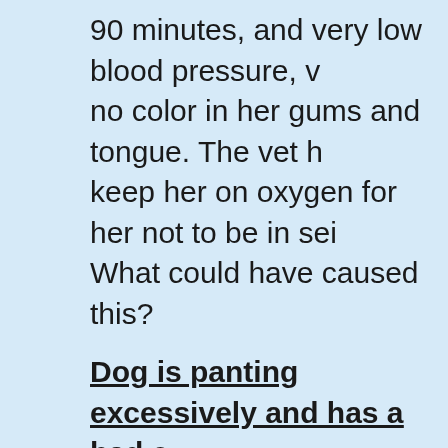90 minutes, and very low blood pressure, no color in her gums and tongue. The vet keep her on oxygen for her not to be in sei What could have caused this?
Dog is panting excessively and has a bad c
My 14 year old black lab has been panting excessively and has developed a bad cou She does have arthritis and displaysia. Is t any way to tell if she is in severe pain?
My two year old spayed mix dog, her belly i and looks irritated.
Female dog nipples I have a two year old spayed mix. Her belly is red and looks irrita And her bottom two nipples are leaking a c fluid. I have never notice this before.I tried